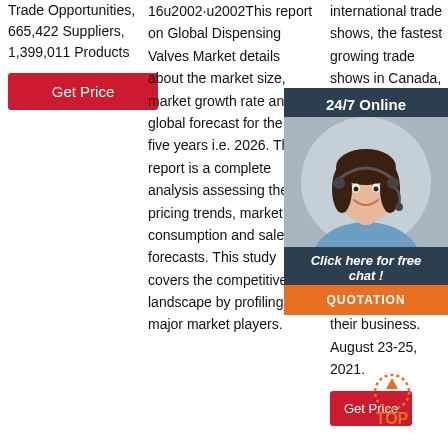Trade Opportunities, 665,422 Suppliers, 1,399,011 Products
Get Price
16u2002·u2002This report on Global Dispensing Valves Market details about the market size, market growth rate and global forecast for the next five years i.e. 2026. The report is a complete analysis assessing the pricing trends, market consumption and sales forecasts. This study covers the competitive landscape by profiling the major market players.
international trade shows, the fastest growing trade shows in Canada, U.S.A and Europe, trade shows Industry platform that provides a platform for the world's textile industry to connect and create to grow their business. August 23-25, 2021.
[Figure (infographic): 24/7 Online chat widget with a smiling female customer service agent wearing a headset, dark navy background, with 'Click here for free chat!' text and an orange QUOTATION button below.]
Get Price